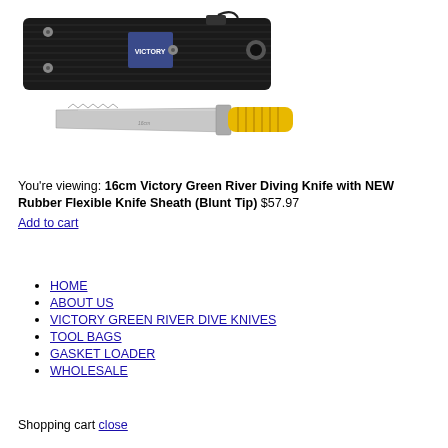[Figure (photo): Product photo showing a diving knife with yellow rubber handle and serrated blade, alongside a black fabric sheath/holster with a metal eyelet and velcro strap]
You're viewing: 16cm Victory Green River Diving Knife with NEW Rubber Flexible Knife Sheath (Blunt Tip) $57.97
Add to cart
HOME
ABOUT US
VICTORY GREEN RIVER DIVE KNIVES
TOOL BAGS
GASKET LOADER
WHOLESALE
Shopping cart close